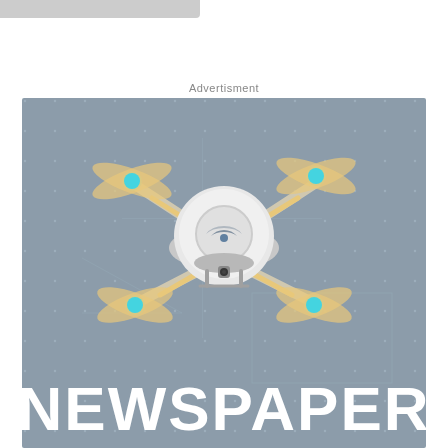Advertisment
[Figure (illustration): Isometric drone/quadcopter illustration on grey-blue background with technology grid lines, with large white bold text 'NEWSPAPER' at the bottom]